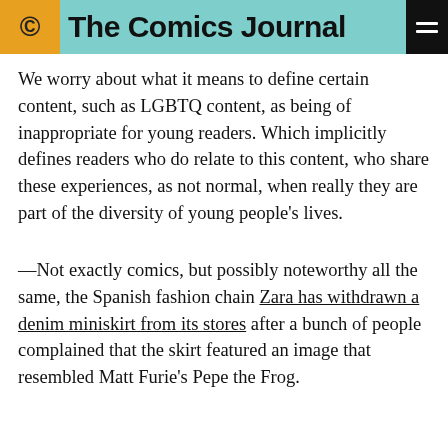The Comics Journal
We worry about what it means to define certain content, such as LGBTQ content, as being of inappropriate for young readers. Which implicitly defines readers who do relate to this content, who share these experiences, as not normal, when really they are part of the diversity of young people’s lives.
—Not exactly comics, but possibly noteworthy all the same, the Spanish fashion chain Zara has withdrawn a denim miniskirt from its stores after a bunch of people complained that the skirt featured an image that resembled Matt Furie’s Pepe the Frog.